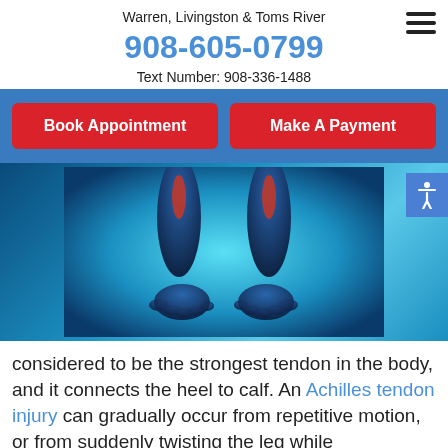Warren, Livingston & Toms River
908-605-0799
Text Number: 908-336-1488
[Figure (other): Book Appointment and Make A Payment buttons on blue navigation bar]
[Figure (photo): 3D anatomical illustration of two human feet/lower legs showing Achilles tendon highlighted in red against a blue background]
considered to be the strongest tendon in the body, and it connects the heel to calf. An Achilles tendon injury can gradually occur from repetitive motion, or from suddenly twisting the leg while participating in running and jumping activities. This condition is generally accompanied by severe pain and discomfort, and it is often difficult to